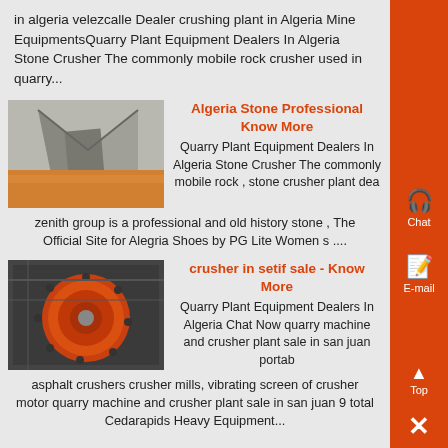in algeria velezcalle Dealer crushing plant in Algeria Mine EquipmentsQuarry Plant Equipment Dealers In Algeria Stone Crusher The commonly mobile rock crusher used in quarry...
[Figure (photo): Industrial metal conveyor or chute structure photographed from below at an angle, with orange/yellow coloring visible]
Algeria Stone Professional Know More
Quarry Plant Equipment Dealers In Algeria Stone Crusher The commonly mobile rock , stone crusher plant dea zenith group is a professional and old history stone , The Official Site for Alegria Shoes by PG Lite Women s ....
[Figure (photo): Orange industrial crusher component, circular with bolts, photographed from above on a metal surface]
crusher in setif sale - Know More
Quarry Plant Equipment Dealers In Algeria Chat Now quarry machine and crusher plant sale in san juan portable asphalt crushers crusher mills, vibrating screen of crusher motor quarry machine and crusher plant sale in san juan 9 total Cedarapids Heavy Equipment...